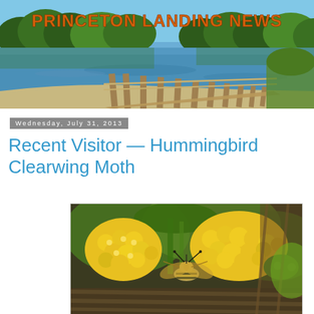[Figure (photo): Header banner photo of a lake with a wooden boardwalk/dock extending into the water, surrounded by green trees with a blue sky. Text overlay reads PRINCETON LANDING NEWS in orange bold letters.]
PRINCETON LANDING NEWS
Wednesday, July 31, 2013
Recent Visitor — Hummingbird Clearwing Moth
[Figure (photo): Close-up photograph of a Hummingbird Clearwing Moth on yellow flowers (lantana). The moth has yellow and black striped body with wings visible.]